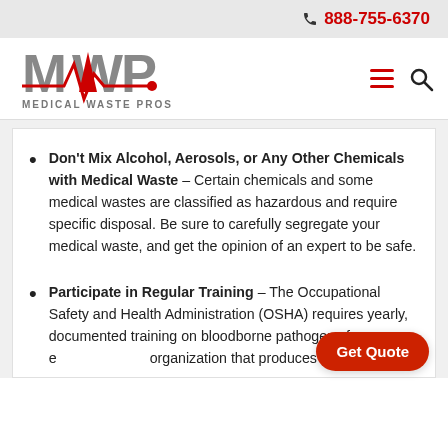888-755-6370
[Figure (logo): Medical Waste Pros logo with MWP letters in grey/red and EKG line design]
Don't Mix Alcohol, Aerosols, or Any Other Chemicals with Medical Waste – Certain chemicals and some medical wastes are classified as hazardous and require specific disposal. Be sure to carefully segregate your medical waste, and get the opinion of an expert to be safe.
Participate in Regular Training – The Occupational Safety and Health Administration (OSHA) requires yearly, documented training on bloodborne pathogens for every employee at an organization that produces or handles...